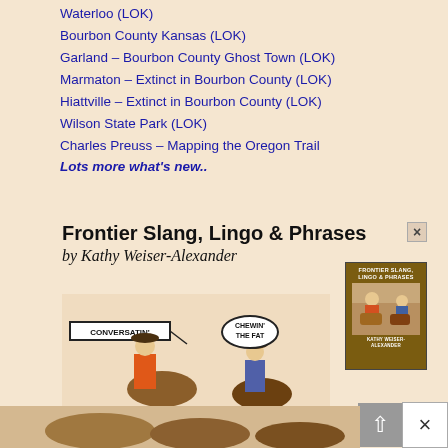Waterloo (LOK)
Bourbon County Kansas (LOK)
Garland – Bourbon County Ghost Town (LOK)
Marmaton – Extinct in Bourbon County (LOK)
Hiattville – Extinct in Bourbon County (LOK)
Wilson State Park (LOK)
Charles Preuss – Mapping the Oregon Trail
Lots more what's new..
[Figure (illustration): Advertisement for 'Frontier Slang, Lingo & Phrases' book by Kathy Weiser-Alexander, featuring cartoon cowboys and a book cover image.]